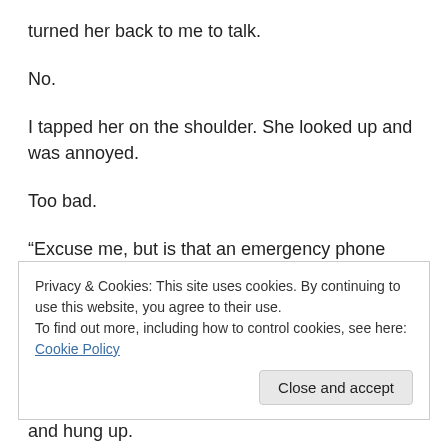turned her back to me to talk.
No.
I tapped her on the shoulder. She looked up and was annoyed.
Too bad.
“Excuse me, but is that an emergency phone call? Do we need to call 9-11?”
“No, not at all. It’s my husband. He wants to know what to
Privacy & Cookies: This site uses cookies. By continuing to use this website, you agree to their use.
To find out more, including how to control cookies, see here: Cookie Policy
and hung up.